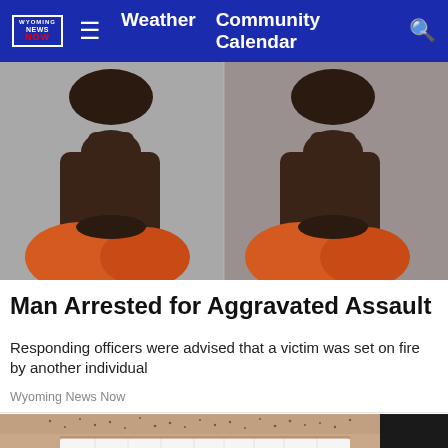Wyoming NEWS NOW — Weather  Community Calendar
[Figure (photo): Two mugshot-style photos showing a person from the neck/chest up, wearing an orange garment, against a gray background. Two side-by-side views.]
Man Arrested for Aggravated Assault
Responding officers were advised that a victim was set on fire by another individual
Wyoming News Now
[Figure (photo): Close-up photo of a person's mouth showing stubble/beard and white teeth smiling, lower face only.]